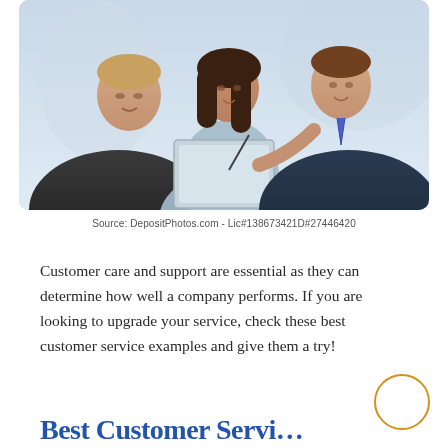[Figure (photo): Three people looking at a tablet/clipboard together — two men and a woman in a professional/business setting, smiling.]
Source: DepositPhotos.com - Lic#138673421D#27446420
Customer care and support are essential as they can determine how well a company performs. If you are looking to upgrade your service, check these best customer service examples and give them a try!
Best Customer Service...